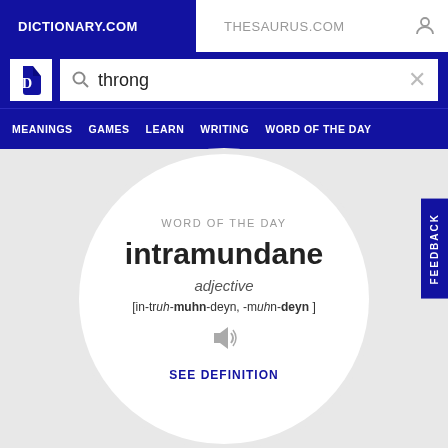DICTIONARY.COM   THESAURUS.COM
[Figure (screenshot): Dictionary.com logo — white D on dark blue background]
throng
MEANINGS   GAMES   LEARN   WRITING   WORD OF THE DAY
intramundane
WORD OF THE DAY
adjective
[in-truh-muhn-deyn, -muhn-deyn ]
SEE DEFINITION